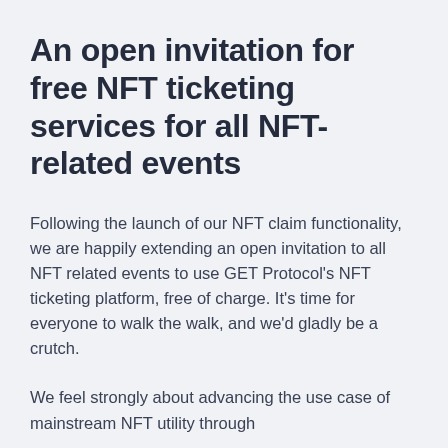An open invitation for free NFT ticketing services for all NFT-related events
Following the launch of our NFT claim functionality, we are happily extending an open invitation to all NFT related events to use GET Protocol's NFT ticketing platform, free of charge. It's time for everyone to walk the walk, and we'd gladly be a crutch.
We feel strongly about advancing the use case of mainstream NFT utility through